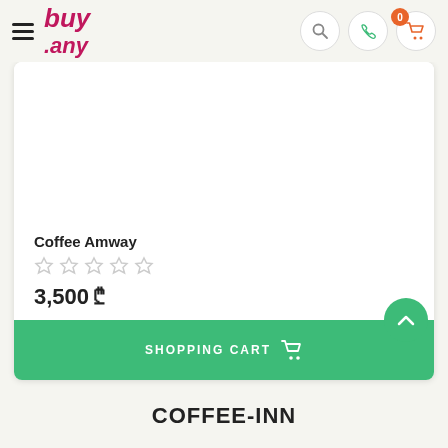buy.any — navigation header with search, phone, and cart icons
[Figure (screenshot): Product card for Coffee Amway showing 5 empty stars rating, price 3,500 and Shopping Cart button]
Coffee Amway
3,500 ₾
SHOPPING CART
COFFEE-INN